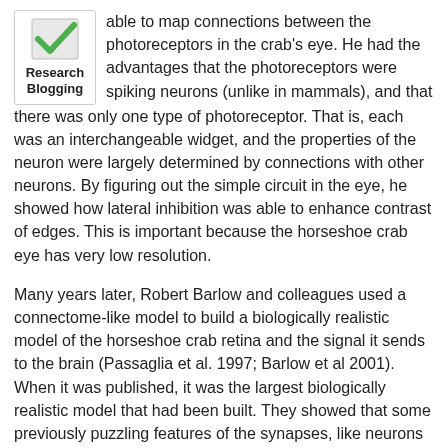[Figure (logo): Research Blogging logo: a green checkmark on a white box with border, and bold text 'Research Blogging' below]
able to map connections between the photoreceptors in the crab's eye. He had the advantages that the photoreceptors were spiking neurons (unlike in mammals), and that there was only one type of photoreceptor. That is, each was an interchangeable widget, and the properties of the neuron were largely determined by connections with other neurons. By figuring out the simple circuit in the eye, he showed how lateral inhibition was able to enhance contrast of edges. This is important because the horseshoe crab eye has very low resolution.
Many years later, Robert Barlow and colleagues used a connectome-like model to build a biologically realistic model of the horseshoe crab retina and the signal it sends to the brain (Passaglia et al. 1997; Barlow et al 2001). When it was published, it was the largest biologically realistic model that had been built. They showed that some previously puzzling features of the synapses, like neurons inhibiting themselves, did things like filter out flicker in the environment.
If the mammalian retina is an invertebrate nervous system